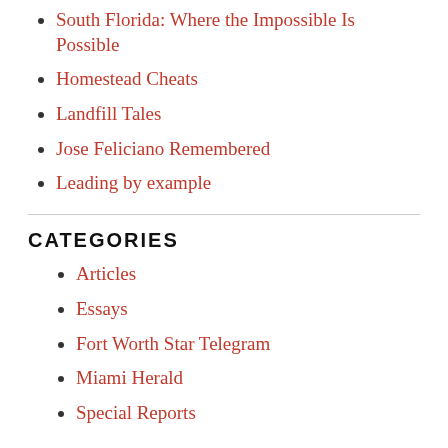South Florida: Where the Impossible Is Possible
Homestead Cheats
Landfill Tales
Jose Feliciano Remembered
Leading by example
CATEGORIES
Articles
Essays
Fort Worth Star Telegram
Miami Herald
Special Reports